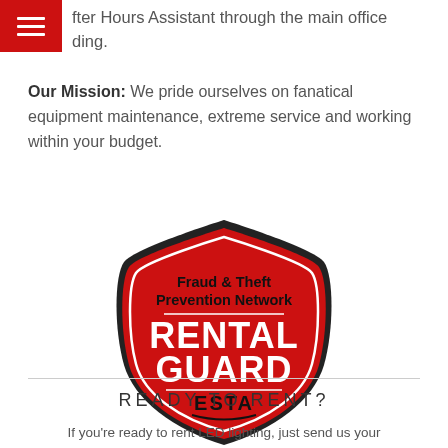fter Hours Assistant through the main office
ding.
Our Mission: We pride ourselves on fanatical equipment maintenance, extreme service and working within your budget.
[Figure (logo): Fraud & Theft Prevention Network RENTAL GUARD ESTA badge/shield logo in red, black, and white]
READY TO RENT?
If you're ready to rent LED lighting, just send us your